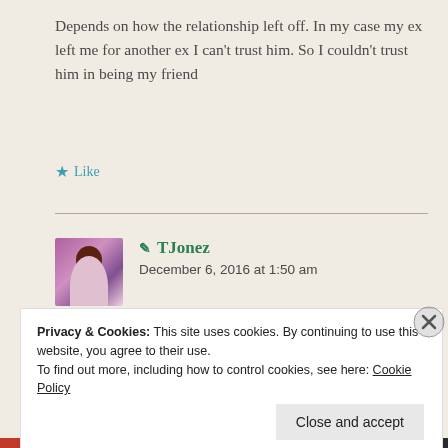Depends on how the relationship left off. In my case my ex left me for another ex I can't trust him. So I couldn't trust him in being my friend
Like
TJonez
December 6, 2016 at 1:50 am
I definitely understand. My ex of five years, we couldn't be friends either. Although I had
Privacy & Cookies: This site uses cookies. By continuing to use this website, you agree to their use.
To find out more, including how to control cookies, see here: Cookie Policy